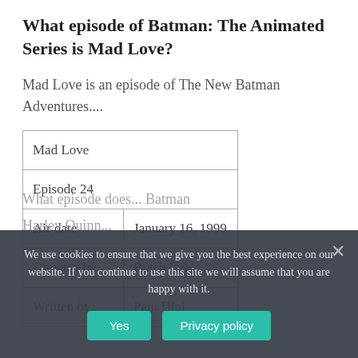What episode of Batman: The Animated Series is Mad Love?
Mad Love is an episode of The New Batman Adventures....
| Mad Love |
| Episode 24 |
| Air date | January 16, 1999 |
| Directed by | Butch Lukic |
| Written by | Paul Dini |
What episode does... (partially obscured by cookie overlay)
Harley Quinn... (partially obscured by cookie overlay)